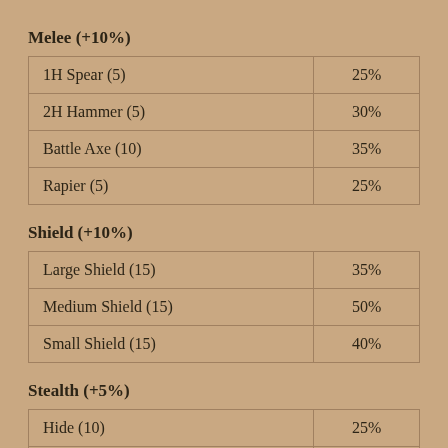Melee (+10%)
| 1H Spear (5) | 25% |
| 2H Hammer (5) | 30% |
| Battle Axe (10) | 35% |
| Rapier (5) | 25% |
Shield (+10%)
| Large Shield (15) | 35% |
| Medium Shield (15) | 50% |
| Small Shield (15) | 40% |
Stealth (+5%)
| Hide (10) | 25% |
| Move Quietly (10) | 55% |